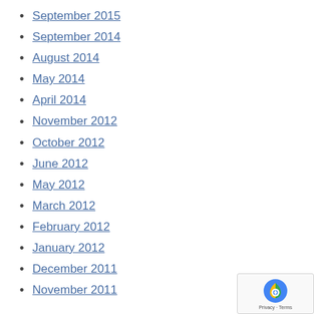September 2015
September 2014
August 2014
May 2014
April 2014
November 2012
October 2012
June 2012
May 2012
March 2012
February 2012
January 2012
December 2011
November 2011
[Figure (other): Google reCAPTCHA badge with Privacy and Terms links]